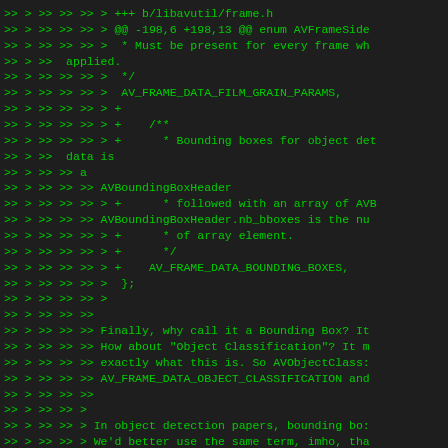>> > >> >> >> > +++ b/libavutil/frame.h
>> > >> >> >> > @@ -198,6 +198,13 @@ enum AVFrameSide
>> > >> >> >> >  * Must be present for every frame wh
>> > >>  applied.
>> > >> >> >> >  */
>> > >> >> >> >  AV_FRAME_DATA_FILM_GRAIN_PARAMS,
>> > >> >> >> > +
>> > >> >> >> > +    /**
>> > >> >> >> > +      * Bounding boxes for object det
>> > >>  data is
>> > >> >> a
>> > >> >> >> AVBoundingBoxHeader
>> > >> >> >> > +      * followed with an array of AVB
>> > >> >> >> AVBoundingBoxHeader.nb_bboxes is the nu
>> > >> >> >> > +      * of array element.
>> > >> >> >> > +      */
>> > >> >> >> > +    AV_FRAME_DATA_BOUNDING_BOXES,
>> > >> >> >> >  };
>> > >> >> >> >
>> > >> >> >>
>> > >> >> >> Finally, why call it a Bounding Box? It
>> > >> >> >> How about "Object Classification"? It m
>> > >> >> >> exactly what this is. So AVObjectClass:
>> > >> >> >> AV_FRAME_DATA_OBJECT_CLASSIFICATION and
>> > >> >> >>
>> > >> >> >
>> > >> >> > In object detection papers, bounding bo:
>> > >> >> > We'd better use the same term, imho, tha
>> > >> >> >
>> > >> >>
>> > >> >> Not in this case, API users won't have any
>> > >> >> it's for. This is user facing code after